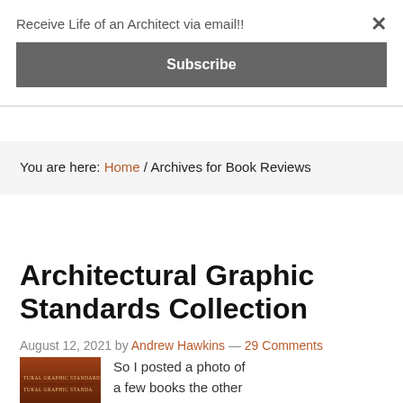Receive Life of an Architect via email!!
Subscribe
You are here: Home / Archives for Book Reviews
Architectural Graphic Standards Collection
August 12, 2021 by Andrew Hawkins — 29 Comments
[Figure (photo): Stack of Architectural Graphic Standards books with orange/brown spines]
So I posted a photo of a few books the other